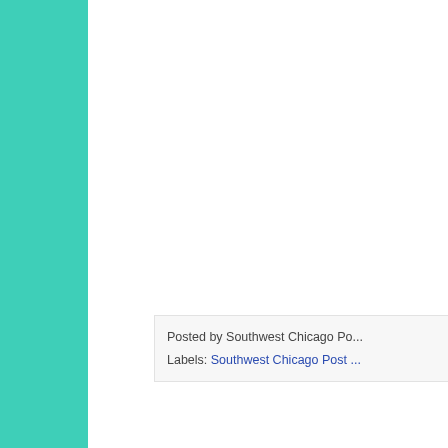Posted by Southwest Chicago Po...
Labels: Southwest Chicago Post...
WEDNESDAY, NOVEMBER 8, 20...
Holiday Extr...
[Figure (photo): Partially visible image with large number 4 and bokeh background]